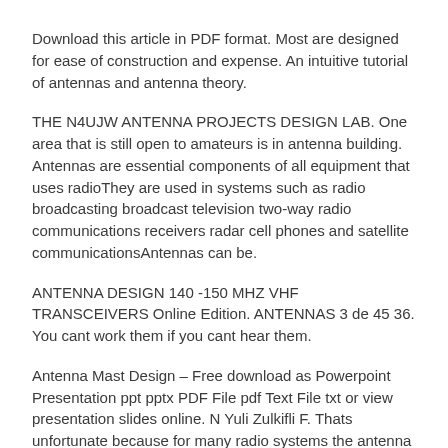Download this article in PDF format. Most are designed for ease of construction and expense. An intuitive tutorial of antennas and antenna theory.
THE N4UJW ANTENNA PROJECTS DESIGN LAB. One area that is still open to amateurs is in antenna building. Antennas are essential components of all equipment that uses radioThey are used in systems such as radio broadcasting broadcast television two-way radio communications receivers radar cell phones and satellite communicationsAntennas can be.
ANTENNA DESIGN 140 -150 MHZ VHF TRANSCEIVERS Online Edition. ANTENNAS 3 de 45 36. You cant work them if you cant hear them.
Antenna Mast Design – Free download as Powerpoint Presentation ppt pptx PDF File pdf Text File txt or view presentation slides online. N Yuli Zulkifli F. Thats unfortunate because for many radio systems the antenna is one of the most important elements one that can make the difference between a successful and an unsuccessful system.
A receiver antenna on your radio for example captures the radio waves